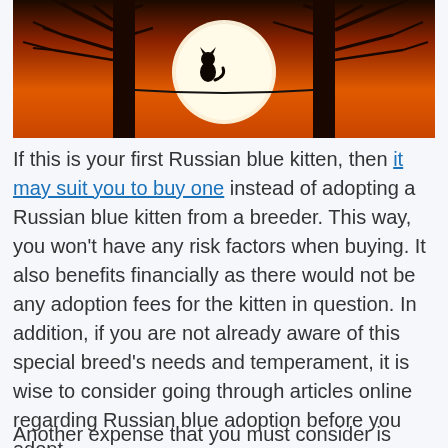[Figure (photo): Photo of a cat silhouetted against a large orange sunset sun, perched on a wire between two dark tree silhouettes]
If this is your first Russian blue kitten, then it may suit you to buy one instead of adopting a Russian blue kitten from a breeder. This way, you won't have any risk factors when buying. It also benefits financially as there would not be any adoption fees for the kitten in question. In addition, if you are not already aware of this special breed's needs and temperament, it is wise to consider going through articles online regarding Russian blue adoption before you adopt.
Another expense that you must consider is